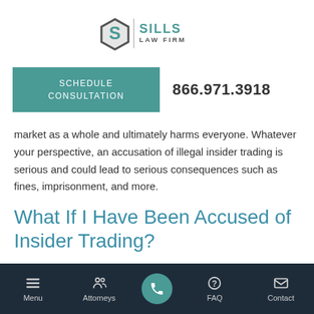[Figure (logo): Sills Law Firm logo with stylized S hexagon icon and text SILLS LAW FIRM in teal/grey]
SCHEDULE CONSULTATION
866.971.3918
market as a whole and ultimately harms everyone. Whatever your perspective, an accusation of illegal insider trading is serious and could lead to serious consequences such as fines, imprisonment, and more.
What If I Have Been Accused of Insider Trading?
Menu  Attorneys  [phone]  FAQ  Contact